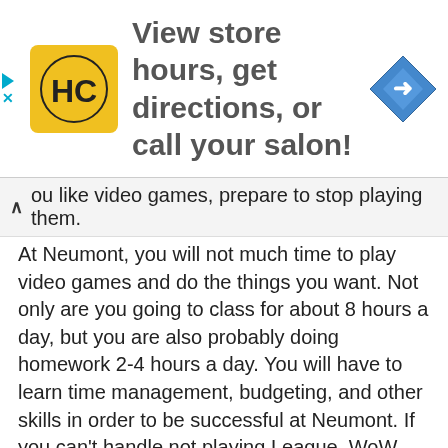[Figure (screenshot): Advertisement banner: HC salon logo and text 'View store hours, get directions, or call your salon!' with navigation arrow icon]
ou like video games, prepare to stop playing them. At Neumont, you will not much time to play video games and do the things you want. Not only are you going to class for about 8 hours a day, but you are also probably doing homework 2-4 hours a day. You will have to learn time management, budgeting, and other skills in order to be successful at Neumont. If you can't handle not playing League, WoW, Smash, or Magic for at least 5 days a week, this is not the school for you.
Student housing is okay. It's not stellar, but it's better than most. The student housing program pretty good. I may be biased, having worked as an RA. The facilities are nice, well maintained, and staffed by student RA's who handle student requests, create student activities,